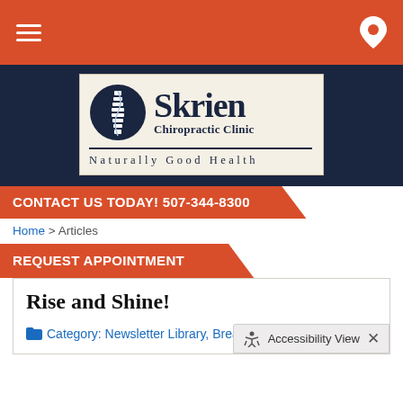Navigation bar with hamburger menu and location pin
[Figure (logo): Skrien Chiropractic Clinic logo with spine circle graphic and tagline 'Naturally Good Health']
CONTACT US TODAY! 507-344-8300
Home > Articles
REQUEST APPOINTMENT
Rise and Shine!
Category: Newsletter Library, Breaking Bad Habits